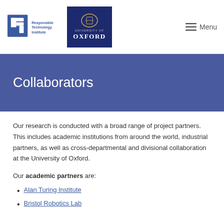[Figure (logo): Responsible Technology Institute logo with RTI mark in blue and text 'Responsible Technology Institute']
[Figure (logo): University of Oxford logo with dark navy background, crest, and 'UNIVERSITY OF OXFORD' text]
Menu
Collaborators
Our research is conducted with a broad range of project partners. This includes academic institutions from around the world, industrial partners, as well as cross-departmental and divisional collaboration at the University of Oxford.
Our academic partners are:
Alan Turing Institute
Bristol Robotics Lab